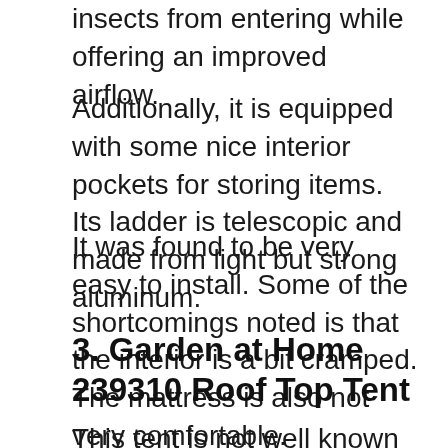insects from entering while offering an improved airflow.
Additionally, it is equipped with some nice interior pockets for storing items. Its ladder is telescopic and made from light but strong aluminum.
It was found to be very easy to install. Some of the shortcomings noted is that the interior is a bit cramped. The mattress is also not very comfortable.
3. Garden at Home 239310 Roof Top Tent
This tent is not well known but don't